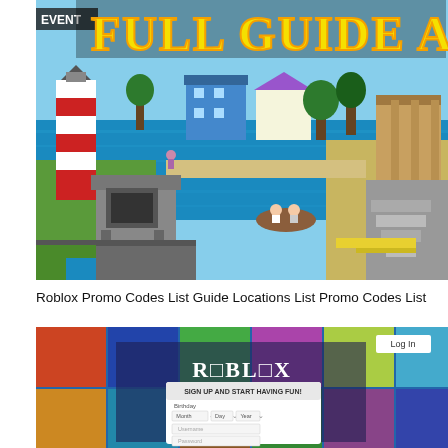[Figure (screenshot): Screenshot of a Roblox game with text 'FULL GUIDE A-Z' and 'EVENT' label, showing a colorful low-poly game environment with a lighthouse, buildings near water, a military watchtower, and characters in a boat.]
Roblox Promo Codes List Guide Locations List Promo Codes List
[Figure (screenshot): Screenshot of the Roblox website homepage showing the Roblox logo, a 'Sign Up and Start Having Fun' registration form with Birthday, Username, and Password fields, and a 'Log In' button in the top right corner.]